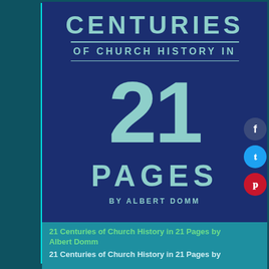[Figure (illustration): Book cover for '21 Centuries of Church History in 21 Pages by Albert Domm'. Dark navy blue background with light teal/seafoam colored text. Shows 'CENTURIES' in large bold uppercase letters, a horizontal divider, 'OF CHURCH HISTORY IN' in smaller uppercase, another divider, a very large '21' numeral, 'PAGES' in large uppercase, and 'by ALBERT DOMM' in smaller text at the bottom.]
21 Centuries of Church History in 21 Pages by Albert Domm
21 Centuries of Church History in 21 Pages by